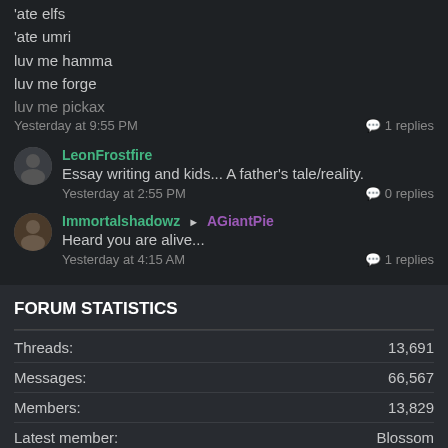'ate elfs
'ate umri
luv me hamma
luv me forge
luv me pickax
Yesterday at 9:55 PM — 1 replies
LeonFrostfire
Essay writing and kids... A father's tale/reality.
Yesterday at 2:55 PM — 0 replies
Immortalshadowz ▷ AGiantPie
Heard you are alive...
Yesterday at 4:15 AM — 1 replies
FORUM STATISTICS
|  |  |
| --- | --- |
| Threads: | 13,691 |
| Messages: | 66,567 |
| Members: | 13,829 |
| Latest member: | Blossom |